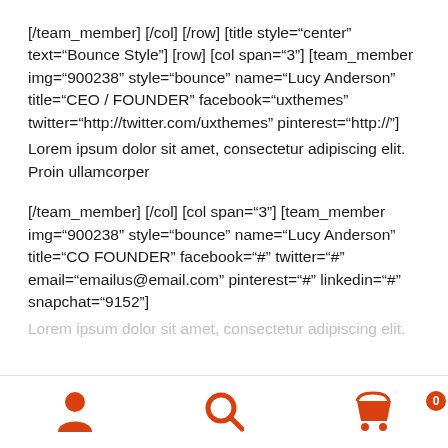[/team_member] [/col] [/row] [title style="center" text="Bounce Style"] [row] [col span="3"] [team_member img="900238" style="bounce" name="Lucy Anderson" title="CEO / FOUNDER" facebook="uxthemes" twitter="http://twitter.com/uxthemes" pinterest="http://"]
Lorem ipsum dolor sit amet, consectetur adipiscing elit. Proin ullamcorper
[/team_member] [/col] [col span="3"] [team_member img="900238" style="bounce" name="Lucy Anderson" title="CO FOUNDER" facebook="#" twitter="#" email="emailus@email.com" pinterest="#" linkedin="#" snapchat="9152"]
Lorem ipsum dolor sit amet, consectetur adipiscing elit.
navigation bar with user, search, and cart icons